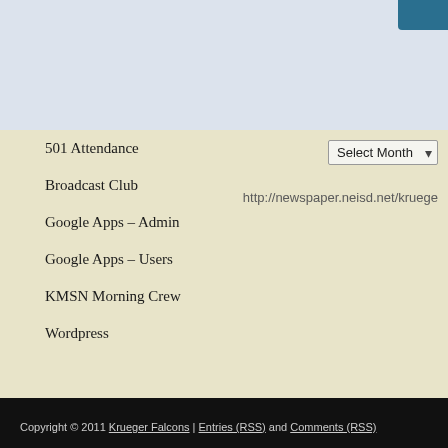501 Attendance
Broadcast Club
Google Apps – Admin
Google Apps – Users
KMSN Morning Crew
Wordpress
http://newspaper.neisd.net/kruege
Copyright © 2011 Krueger Falcons | Entries (RSS) and Comments (RSS)